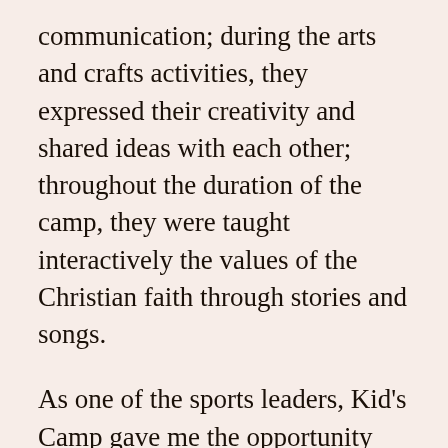communication; during the arts and crafts activities, they expressed their creativity and shared ideas with each other; throughout the duration of the camp, they were taught interactively the values of the Christian faith through stories and songs.
As one of the sports leaders, Kid's Camp gave me the opportunity the share the joy of sports and physical activity with the children. I soon realized that I was not the only one with a strong sporting passion; immediately after handing out soccer balls, it was revealed